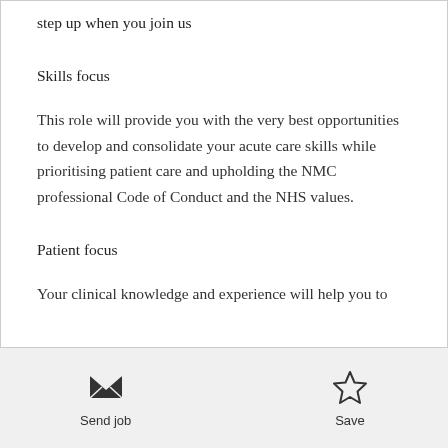step up when you join us
Skills focus
This role will provide you with the very best opportunities to develop and consolidate your acute care skills while prioritising patient care and upholding the NMC professional Code of Conduct and the NHS values.
Patient focus
Your clinical knowledge and experience will help you to
Send job | Save